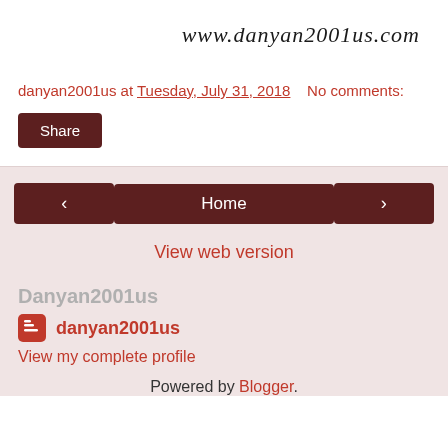www.danyan2001us.com
danyan2001us at Tuesday, July 31, 2018    No comments:
Share
‹
Home
›
View web version
Danyan2001us
danyan2001us
View my complete profile
Powered by Blogger.